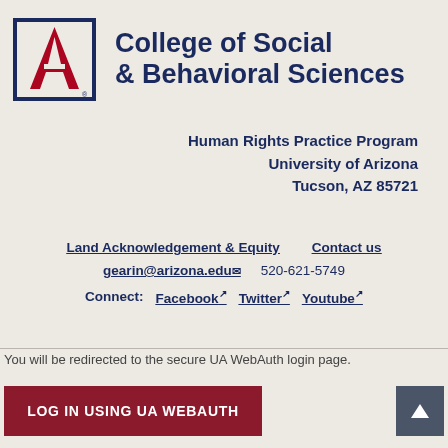[Figure (logo): University of Arizona College of Social & Behavioral Sciences logo with block A in red and blue]
Human Rights Practice Program
University of Arizona
Tucson, AZ 85721
Land Acknowledgement & Equity   Contact us
gearin@arizona.edu   520-621-5749
Connect:  Facebook  Twitter  Youtube
You will be redirected to the secure UA WebAuth login page.
LOG IN USING UA WEBAUTH